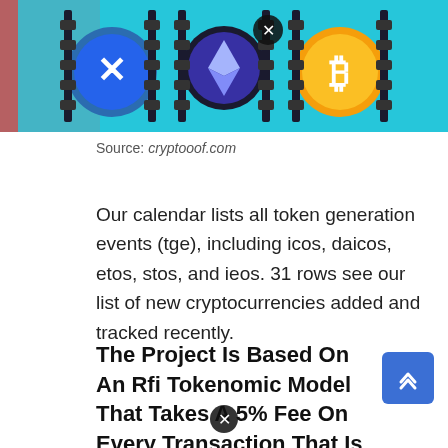[Figure (illustration): Banner image showing cryptocurrency coins including Ripple (XRP), Ethereum (ETH), and Bitcoin (BTC) on a teal/aqua background with film strip style coin stacks]
Source: cryptooof.com
Our calendar lists all token generation events (tge), including icos, daicos, etos, stos, and ieos. 31 rows see our list of new cryptocurrencies added and tracked recently.
The Project Is Based On An Rfi Tokenomic Model That Takes A 5% Fee On Every Transaction That Is Proportionally Redistributed To All Holders Of The Bonfire Token, And Another 5% Fee That Goes Into The